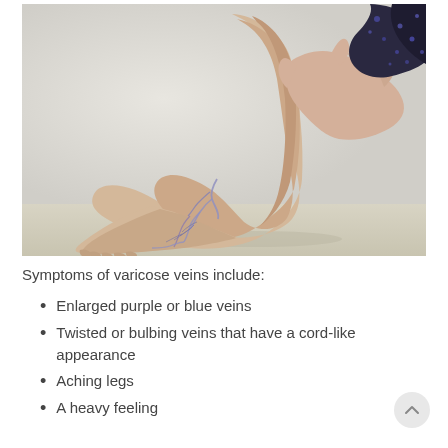[Figure (photo): Medical photo of a person's lower leg and foot showing varicose veins. The person is touching their calf with one hand. Visible bluish-purple spider veins are apparent on the lower leg and ankle area. The background is light gray/white.]
Symptoms of varicose veins include:
Enlarged purple or blue veins
Twisted or bulbing veins that have a cord-like appearance
Aching legs
A heavy feeling